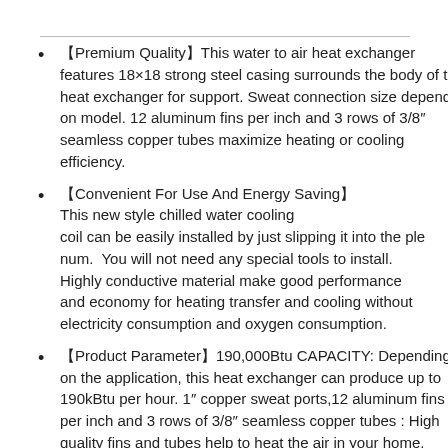【Premium Quality】This water to air heat exchanger features 18×18 strong steel casing surrounds the body of the heat exchanger for support. Sweat connection size depends on model. 12 aluminum fins per inch and 3 rows of 3/8" seamless copper tubes maximize heating or cooling efficiency.
【Convenient For Use And Energy Saving】This new style chilled water cooling coil can be easily installed by just slipping it into the plenum.  You will not need any special tools to install. Highly conductive material make good performance and economy for heating transfer and cooling without electricity consumption and oxygen consumption.
【Product Parameter】190,000Btu CAPACITY: Depending on the application, this heat exchanger can produce up to 190kBtu per hour. 1" copper sweat ports,12 aluminum fins per inch and 3 rows of 3/8" seamless copper tubes : High quality fins and tubes help to heat the air in your home.
【Multiple Applications】AB water to air heat exchanger offers the highest level of thermal efficiency and